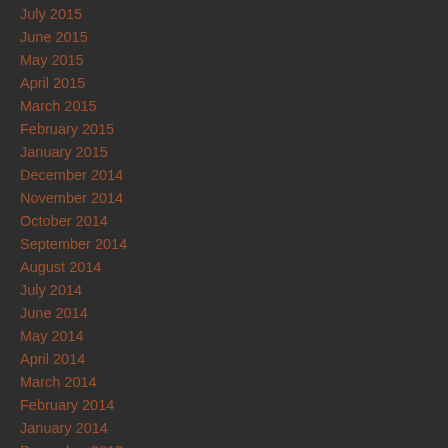July 2015
June 2015
May 2015
April 2015
March 2015
February 2015
January 2015
December 2014
November 2014
October 2014
September 2014
August 2014
July 2014
June 2014
May 2014
April 2014
March 2014
February 2014
January 2014
December 2013
November 2013